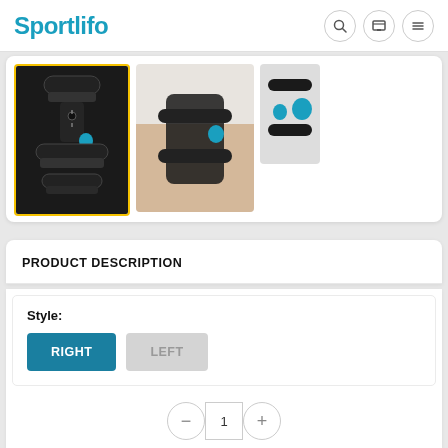Sportlifo
[Figure (photo): Product image gallery showing a black ankle/foot brace with blue accents and straps. Three thumbnail images: the main selected one with yellow border showing the brace front view, a middle image showing hands holding the brace, and a small image showing a side view.]
PRODUCT DESCRIPTION
Style:
RIGHT
LEFT